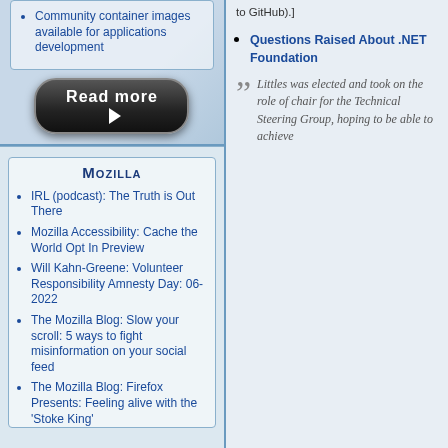Community container images available for applications development
[Figure (other): Read more button with arrow]
Mozilla
IRL (podcast): The Truth is Out There
Mozilla Accessibility: Cache the World Opt In Preview
Will Kahn-Greene: Volunteer Responsibility Amnesty Day: 06-2022
The Mozilla Blog: Slow your scroll: 5 ways to fight misinformation on your social feed
The Mozilla Blog: Firefox Presents: Feeling alive with the 'Stoke King'
[Figure (other): Read more button with arrow]
to GitHub).]
Questions Raised About .NET Foundation
Littles was elected and took on the role of chair for the Technical Steering Group, hoping to be able to achieve